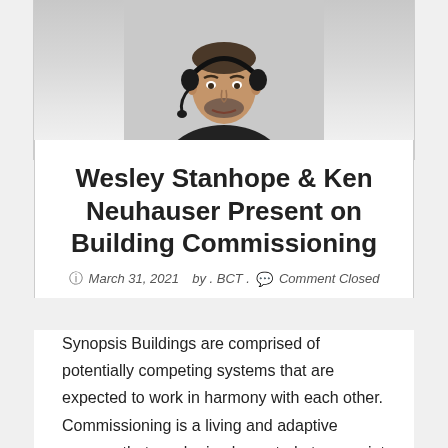[Figure (photo): A man wearing a black jacket and headset, photographed from above the waist, light gray background.]
Wesley Stanhope & Ken Neuhauser Present on Building Commissioning
March 31, 2021  by . BCT .  Comment Closed
Synopsis Buildings are comprised of potentially competing systems that are expected to work in harmony with each other. Commissioning is a living and adaptive process that can be implemented at any point throughout the lifespan of a building